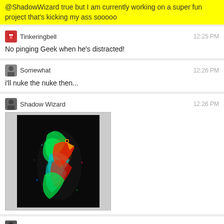@ShadowWizard true but I am currently working on a super fun project that's kicking my ass sooooo
Tinkeringbell
12:25 PM
No pinging Geek when he's distracted!
Somewhat
12:26 PM
i'll nuke the nuke then...
Shadow Wizard
12:26 PM
[Figure (photo): A colorful parrot with neon green, red, and blue feathers against a dark background]
Journeyman Geek
12:26 PM
I won't get mad lol
Shadow Wizard
12:26 PM